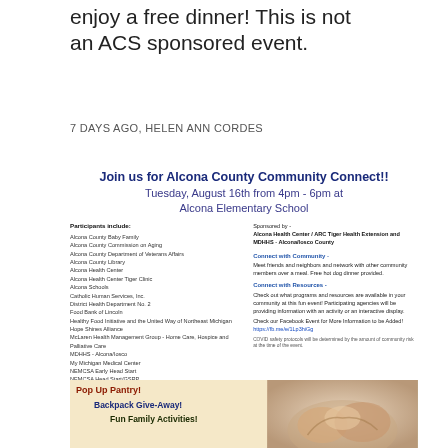enjoy a free dinner! This is not an ACS sponsored event.
7 DAYS AGO, HELEN ANN CORDES
[Figure (infographic): Alcona County Community Connect flyer with event details, participant list, and program information]
Join us for Alcona County Community Connect!!
Tuesday, August 16th from 4pm - 6pm at Alcona Elementary School
Participants include: Alcona County Baby Family, Alcona County Commission on Aging, Alcona County Department of Veterans Affairs, Alcona County Library, Alcona Health Center, Alcona Health Center Tiger Clinic, Alcona Schools, Catholic Human Services, Inc., District Health Department No. 2, Food Bank of Lincoln, Healthy Food Initiative and the United Way of Northeast Michigan, Hope Shines Alliance, McLaren Health Management Group - Home Care, Hospice and Palliative Care, MDHHS - Alcona/Iosco, My Michigan Medical Center, NEMCSA Early Head Start, NEMCSA Head Start/GSRP, and more!
Sponsored by - Alcona Health Center / ARC Tiger Health Extension and MDHHS - Alcona/Iosco County
Connect with Community - Meet friends and neighbors and network with other community members over a meal. Free hot dog dinner provided.
Connect with Resources - Check out what programs and resources are available in your community at this fun event! Participating agencies will be providing information with an activity or an interactive display.
Check our Facebook Event for More Information to be Added! https://fb.me/e/1Lp3hiGg
COVID safety protocols will be determined by the amount of community risk at the time of the event.
Pop Up Pantry! Backpack Give-Away! Fun Family Activities!